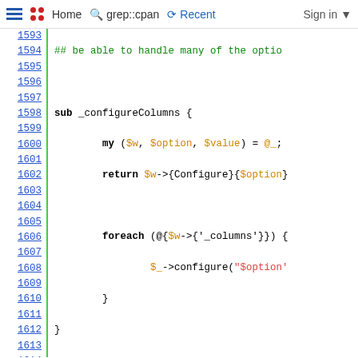Home  grep::cpan  Recent  Sign in
[Figure (screenshot): Syntax-highlighted Perl source code showing lines 1593-1619, including subroutines _configureColumns, _cntrlEnd, _cntrlHome, _chgView, and _dataExtend with color-coded keywords, variables, and strings on a white background with green vertical separator and blue line numbers.]